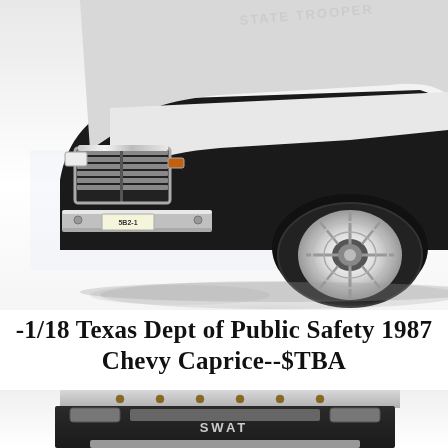[Figure (photo): Close-up photo of a black and white 1/18 scale die-cast model of a 1987 Chevy Caprice Texas State Trooper police car, showing the front grille, bumper, headlights, and front wheel with chrome hubcap. 'STATE TROOPER' text is visible on the door in white. License plate reads 5B2-1.]
-1/18 Texas Dept of Public Safety 1987 Chevy Caprice--$TBA
[Figure (photo): Close-up photo of the top/roof section of a black SWAT vehicle model, showing 'SWAT' text on the rear and chrome equipment/lights mounted on top.]